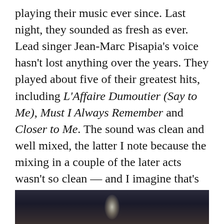playing their music ever since. Last night, they sounded as fresh as ever. Lead singer Jean-Marc Pisapia's voice hasn't lost anything over the years. They played about five of their greatest hits, including L'Affaire Dumoutier (Say to Me), Must I Always Remember and Closer to Me. The sound was clean and well mixed, the latter I note because the mixing in a couple of the later acts wasn't so clean — and I imagine that's because it is almost impossible to get it perfect when you have five acts in succession with only short breaks between each one.
Sam Roberts
[Figure (photo): Concert photo showing a performer on stage with a bright light/spotlight behind them, dark background]